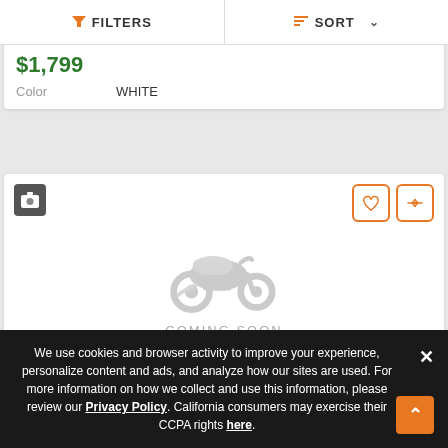FILTERS | SORT
$1,799
Color  WHITE
[Figure (illustration): Motorcycle placeholder image with 'COMING SOON' text, shown in gray silhouette. Card includes a photo icon button top-left and heart/compare icon buttons top-right in orange.]
We use cookies and browser activity to improve your experience, personalize content and ads, and analyze how our sites are used. For more information on how we collect and use this information, please review our Privacy Policy. California consumers may exercise their CCPA rights here.